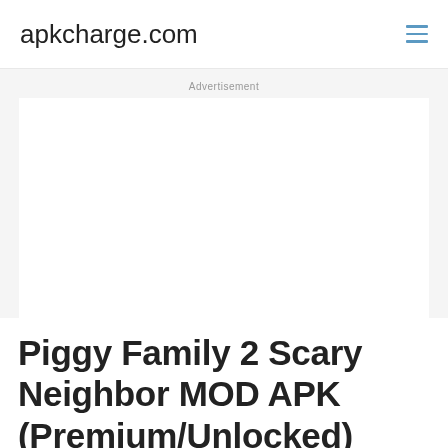apkcharge.com
Advertisement
Piggy Family 2 Scary Neighbor MOD APK (Premium/Unlocked)